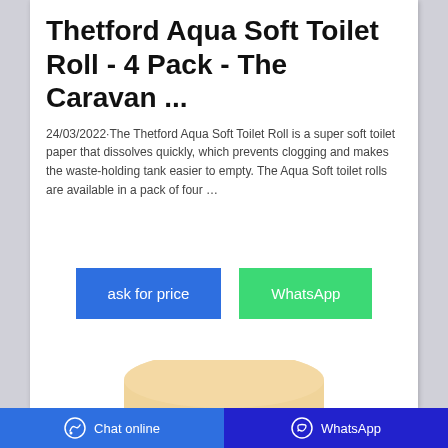Thetford Aqua Soft Toilet Roll - 4 Pack - The Caravan ...
24/03/2022·The Thetford Aqua Soft Toilet Roll is a super soft toilet paper that dissolves quickly, which prevents clogging and makes the waste-holding tank easier to empty. The Aqua Soft toilet rolls are available in a pack of four …
[Figure (other): Two buttons: blue 'ask for price' button and green 'WhatsApp' button]
[Figure (photo): Partial view of a Thetford Aqua Soft toilet roll product, beige/cream colored roll visible at bottom of card]
Chat online   WhatsApp